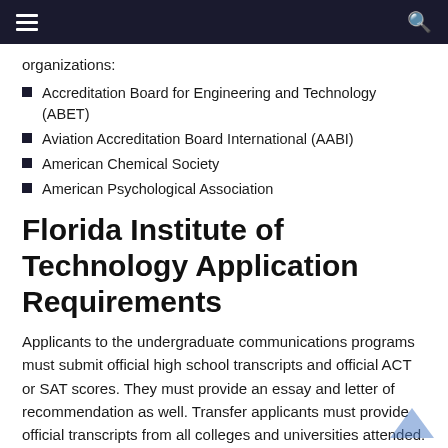≡  🔍
organizations:
Accreditation Board for Engineering and Technology (ABET)
Aviation Accreditation Board International (AABI)
American Chemical Society
American Psychological Association
Florida Institute of Technology Application Requirements
Applicants to the undergraduate communications programs must submit official high school transcripts and official ACT or SAT scores. They must provide an essay and letter of recommendation as well. Transfer applicants must provide official transcripts from all colleges and universities attended.